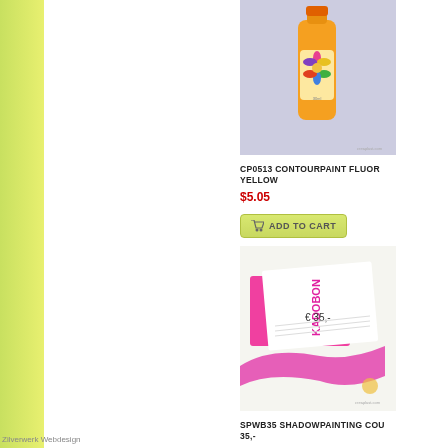[Figure (photo): Orange bottle of Contourpaint Fluor Yellow paint product with colorful flower logo on a light purple/gray background]
CP0513 CONTOURPAINT FLUOR YELLOW
$5.05
ADD TO CART
[Figure (photo): Kadobon (gift voucher) card with pink and magenta ribbon, showing value €35,- on white background]
SPWB35 SHADOWPAINTING COU... 35,-
$39.25
Zilverwerk Webdesign